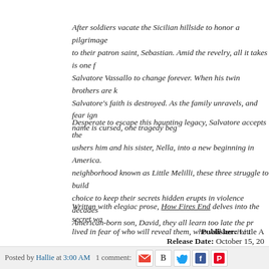After soldiers vacate the Sicilian hillside to honor a pilgrimage to their patron saint, Sebastian. Amid the revelry, all it takes is one for Salvatore Vassallo to change forever. When his twin brothers are k Salvatore's faith is destroyed. As the family unravels, and fear ign name is cursed, one tragedy beg
Desperate to escape this haunting legacy, Salvatore accepts the ushers him and his sister, Nella, into a new beginning in America. neighborhood known as Little Melilli, these three struggle to build choice to keep their secrets hidden erupts in violence decades American-born son, David, they all learn too late the pr
Written with elegiac prose, How Fires End delves into the secret wa lived in fear of who will reveal them, who will survive t
Publisher: Little A
Release Date: October 15, 20
Goodreads | Amazon | Barnes & N
Read more »
Posted by Hallie at 3:00 AM   1 comment: